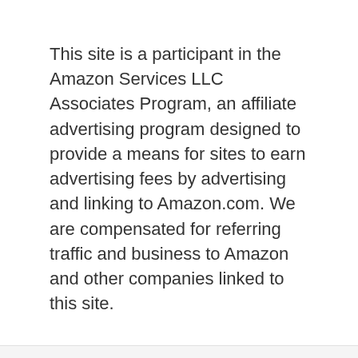This site is a participant in the Amazon Services LLC Associates Program, an affiliate advertising program designed to provide a means for sites to earn advertising fees by advertising and linking to Amazon.com. We are compensated for referring traffic and business to Amazon and other companies linked to this site.
This post contains affiliate links, and I will be